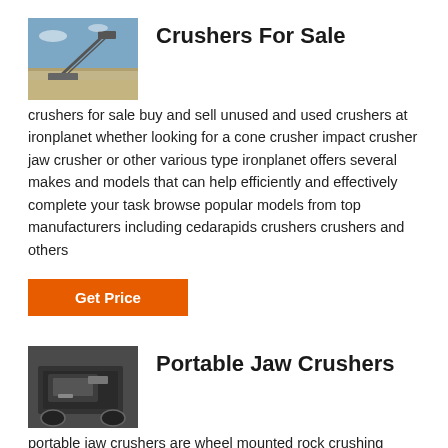[Figure (photo): Outdoor photo of a mining/crushing site with conveyor belt structure against a blue sky]
Crushers For Sale
crushers for sale buy and sell unused and used crushers at ironplanet whether looking for a cone crusher impact crusher jaw crusher or other various type ironplanet offers several makes and models that can help efficiently and effectively complete your task browse popular models from top manufacturers including cedarapids crushers crushers and others
Get Price
[Figure (photo): Indoor photo of a portable jaw crusher machine]
Portable Jaw Crushers
portable jaw crushers are wheel mounted rock crushing machines engineered for